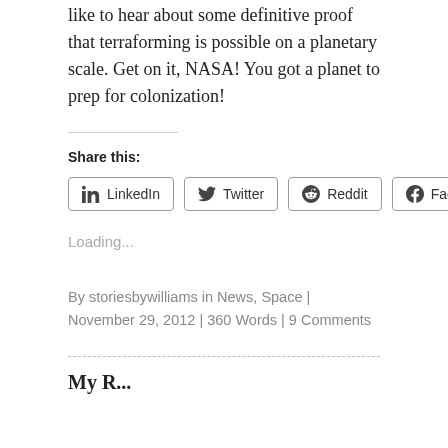like to hear about some definitive proof that terraforming is possible on a planetary scale. Get on it, NASA! You got a planet to prep for colonization!
Share this:
[Figure (other): Social share buttons: LinkedIn, Twitter, Reddit, Facebook]
Loading...
By storiesbywilliams in News, Space | November 29, 2012 | 360 Words | 9 Comments
My R...